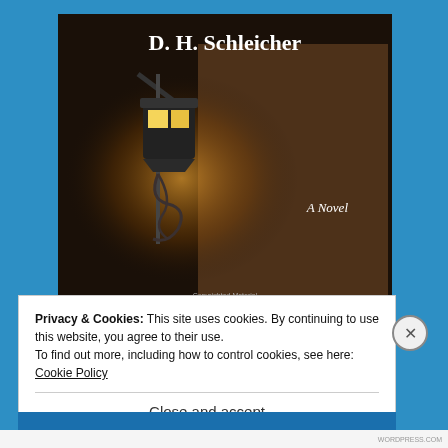[Figure (photo): Book cover for a novel by D. H. Schleicher. Dark background showing a glowing street lamp mounted on a stone wall. Title 'D. H. Schleicher' at top in white serif font. 'A Novel' in italic white text at lower right. 'Copyrighted Material' watermark at bottom center.]
Privacy & Cookies: This site uses cookies. By continuing to use this website, you agree to their use.
To find out more, including how to control cookies, see here: Cookie Policy
Close and accept